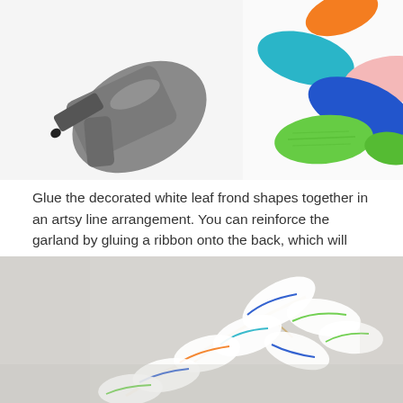[Figure (photo): Top image showing a hot glue gun on the left side and colorful felt leaf shapes (orange, teal, pink, blue, green) arranged on a white surface on the right side.]
Glue the decorated white leaf frond shapes together in an artsy line arrangement. You can reinforce the garland by gluing a ribbon onto the back, which will make it easier to hang the garland too. The glue and the ribbon holds everything together and supports the felt garland’s weight, so make sure everything is well attached.
[Figure (photo): Bottom image showing white leaf frond shapes arranged in a branching pattern with colorful (blue, green, red) line decorations painted on them, photographed on a light gray surface with slight blur/bokeh effect.]